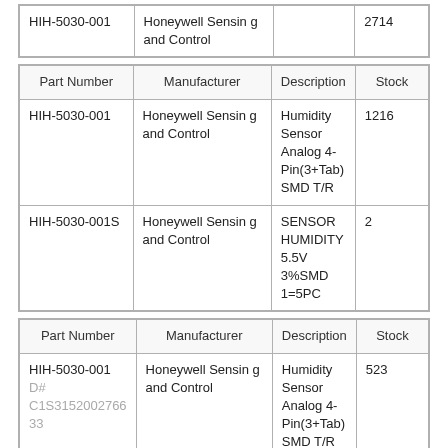| HIH-5030-001 | Honeywell Sensing and Control |  | 2714 |
| Part Number | Manufacturer | Description | Stock |
| --- | --- | --- | --- |
| HIH-5030-001 | Honeywell Sensing and Control | Humidity Sensor Analog 4-Pin(3+Tab) SMD T/R | 1216 |
| HIH-5030-001S | Honeywell Sensing and Control | SENSOR HUMIDITY 5.5V 3%SMD 1=5PC | 2 |
| Part Number | Manufacturer | Description | Stock |
| --- | --- | --- | --- |
| HIH-5030-001
D# C1S315200276633 | Honeywell Sensing and Control | Humidity Sensor Analog 4-Pin(3+Tab) SMD T/R | 523 |